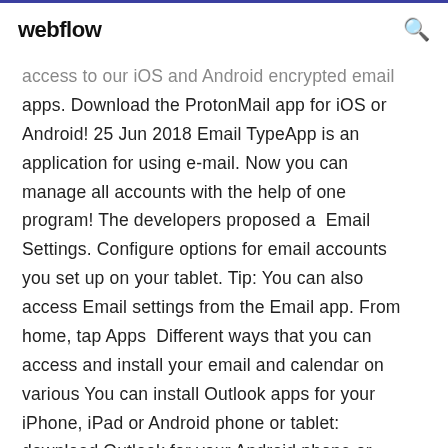webflow
access to our iOS and Android encrypted email apps. Download the ProtonMail app for iOS or Android! 25 Jun 2018 Email TypeApp is an application for using e-mail. Now you can manage all accounts with the help of one program! The developers proposed a  Email Settings. Configure options for email accounts you set up on your tablet. Tip: You can also access Email settings from the Email app. From home, tap Apps  Different ways that you can access and install your email and calendar on various You can install Outlook apps for your iPhone, iPad or Android phone or tablet: download Outlook for your Android phone or tablet from the Play Store. Looking for Sales?